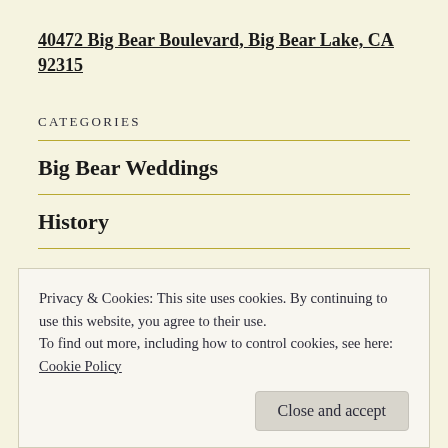40472 Big Bear Boulevard, Big Bear Lake, CA 92315
CATEGORIES
Big Bear Weddings
History
News
Privacy & Cookies: This site uses cookies. By continuing to use this website, you agree to their use.
To find out more, including how to control cookies, see here: Cookie Policy